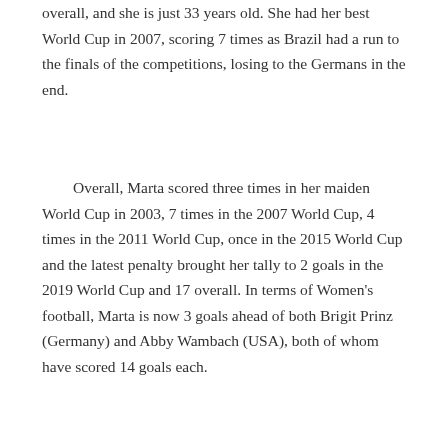overall, and she is just 33 years old. She had her best World Cup in 2007, scoring 7 times as Brazil had a run to the finals of the competitions, losing to the Germans in the end.
Overall, Marta scored three times in her maiden World Cup in 2003, 7 times in the 2007 World Cup, 4 times in the 2011 World Cup, once in the 2015 World Cup and the latest penalty brought her tally to 2 goals in the 2019 World Cup and 17 overall. In terms of Women's football, Marta is now 3 goals ahead of both Brigit Prinz (Germany) and Abby Wambach (USA), both of whom have scored 14 goals each.